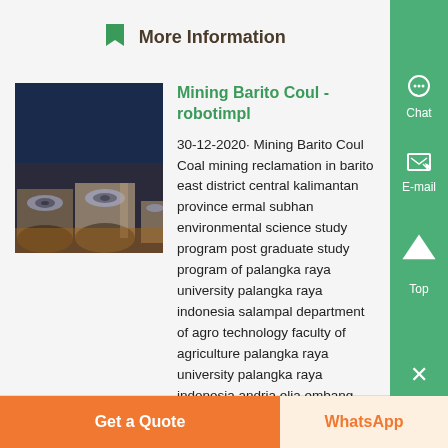More Information
Mining Barito Coul - robotimpl
30-12-2020· Mining Barito Coul Coal mining reclamation in barito east district central kalimantan province ermal subhan environmental science study program post graduate study program of palangka raya university palangka raya indonesia salampal department of agro technology faculty of agriculture palangka raya university palangka raya indonesia andria elia embang...
[Figure (photo): Photo of cylindrical metal objects/rolls stacked together in an industrial setting]
Get a Quote
WhatsApp